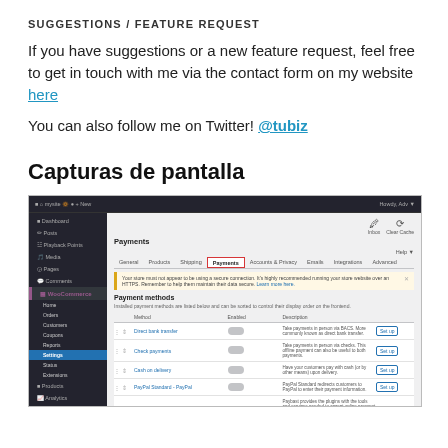SUGGESTIONS / FEATURE REQUEST
If you have suggestions or a new feature request, feel free to get in touch with me via the contact form on my website here
You can also follow me on Twitter! @tubiz
Capturas de pantalla
[Figure (screenshot): WordPress WooCommerce admin screenshot showing the Payments settings tab with payment methods listed: Direct bank transfer, Check payments, Cash on delivery, PayPal Standard, PaypalS - Debit/Credit Cards. Each row has a toggle switch and Set up button. The Payments tab and the last Set up button are highlighted with red/orange boxes.]